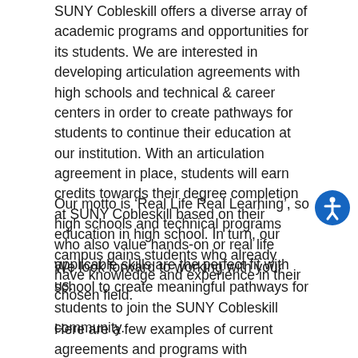SUNY Cobleskill offers a diverse array of academic programs and opportunities for its students. We are interested in developing articulation agreements with high schools and technical & career centers in order to create pathways for students to continue their education at our institution. With an articulation agreement in place, students will earn credits towards their degree completion at SUNY Cobleskill based on their education in high school. In turn, our campus gains students who already have knowledge and experience in their chosen field.
Our motto is ‘Real Life Real Learning’, so high schools and technical programs who also value hands-on or real life applicable skills are the perfect fit with us.
We look forward to working with your school to create meaningful pathways for students to join the SUNY Cobleskill community.
Here are a few examples of current agreements and programs with agreements: